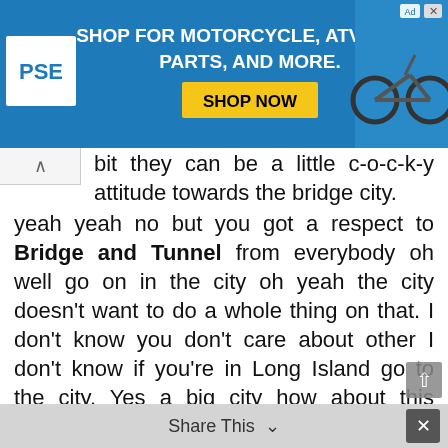[Figure (screenshot): Advertisement banner for PSE motorcycle, ATV & UTV parts shop with blue background, PSE logo, 'SHOP NOW' yellow button, and motorcycle image on the right.]
bit they can be a little c-o-c-k-y attitude towards the bridge city.
yeah yeah no but you got a respect to Bridge and Tunnel from everybody oh well go on in the city oh yeah the city doesn't want to do a whole thing on that. I don't know you don't care about other I don't know if you're in Long Island go to the city. Yes a big city how about this you've got to say on Long Island if that's done that's it Joe yeah this I don't know what you do I never heard that my life Beibei like oh god that's what it is Oh God Oy Vey mere is Oh God in heaven isn't it? I think so yeah are you vote okay Bob maybe
Share This